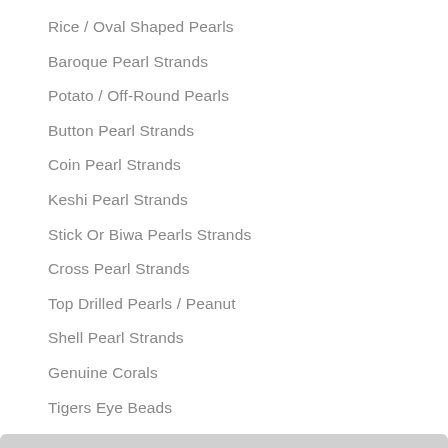Rice / Oval Shaped Pearls
Baroque Pearl Strands
Potato / Off-Round Pearls
Button Pearl Strands
Coin Pearl Strands
Keshi Pearl Strands
Stick Or Biwa Pearls Strands
Cross Pearl Strands
Top Drilled Pearls / Peanut
Shell Pearl Strands
Genuine Corals
Tigers Eye Beads
Turquoise Beads
Jade Beads